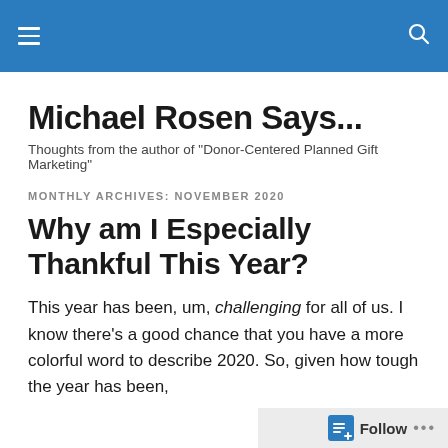Michael Rosen Says... [navigation header with menu and search]
Michael Rosen Says...
Thoughts from the author of "Donor-Centered Planned Gift Marketing"
MONTHLY ARCHIVES: NOVEMBER 2020
Why am I Especially Thankful This Year?
This year has been, um, challenging for all of us. I know there's a good chance that you have a more colorful word to describe 2020. So, given how tough the year has been,